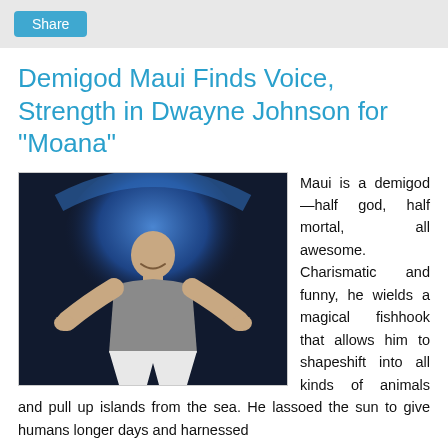Share
Demigod Maui Finds Voice, Strength in Dwayne Johnson for "Moana"
[Figure (photo): Dwayne Johnson on stage, wearing a grey v-neck t-shirt and white pants, arms spread wide, smiling, against a dark background with blue lighting.]
Maui is a demigod—half god, half mortal, all awesome. Charismatic and funny, he wields a magical fishhook that allows him to shapeshift into all kinds of animals and pull up islands from the sea. He lassoed the sun to give humans longer days and harnessed the sun to give humans longer days and harnessed